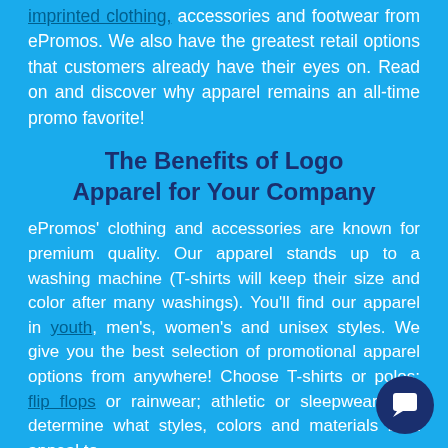imprinted clothing, accessories and footwear from ePromos. We also have the greatest retail options that customers already have their eyes on. Read on and discover why apparel remains an all-time promo favorite!
The Benefits of Logo Apparel for Your Company
ePromos' clothing and accessories are known for premium quality. Our apparel stands up to a washing machine (T-shirts will keep their size and color after many washings). You'll find our apparel in youth, men's, women's and unisex styles. We give you the best selection of promotional apparel options from anywhere! Choose T-shirts or polos; flip flops or rainwear; athletic or sleepwear. You determine what styles, colors and materials best appeal to